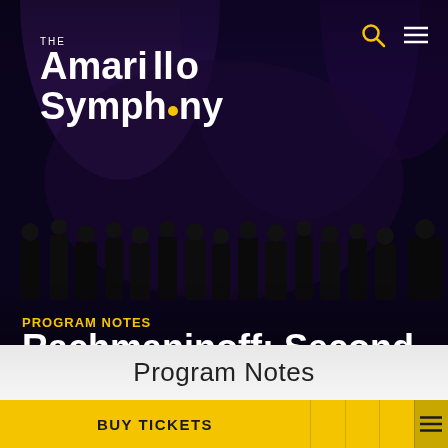[Figure (screenshot): Dark orchestra stage background with musicians in formal wear under stage lighting, purple and dark blue tones]
THE Amarillo Symphony
PROGRAM NOTES
Rachmaninoff: Second Piano Concerto
Program Notes
BUY TICKETS